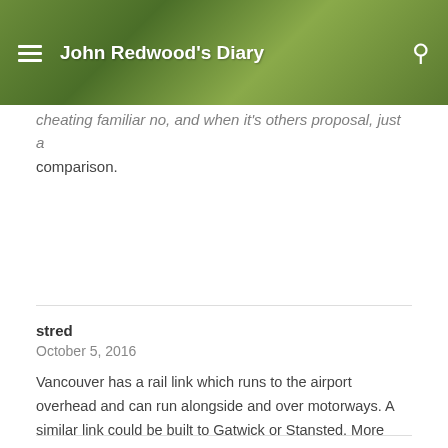John Redwood's Diary
…cheating familiar no, and when it's others proposal, just a comparison.
stred
October 5, 2016
Vancouver has a rail link which runs to the airport overhead and can run alongside and over motorways. A similar link could be built to Gatwick or Stansted. More population is north of Stansted than west of Heathrow. Do you think we need extra traffic through London or round the M25 and M23?